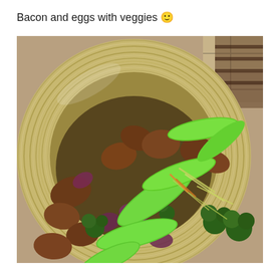Bacon and eggs with veggies 🙂
[Figure (photo): Overhead photo of a large round plate/bowl with ridged rim containing a stir-fry of meat (bacon/beef), bright green snap peas and broccoli, purple/red onion, shredded carrots and bean sprouts, served on a tiled floor background.]